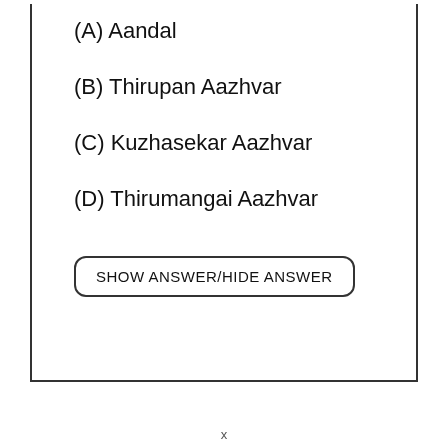(A) Aandal
(B) Thirupan Aazhvar
(C) Kuzhasekar Aazhvar
(D) Thirumangai Aazhvar
SHOW ANSWER/HIDE ANSWER
x